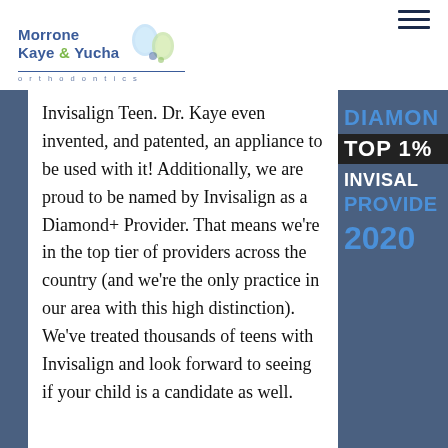Morrone Kaye & Yucha orthodontics
Invisalign Teen. Dr. Kaye even invented, and patented, an appliance to be used with it! Additionally, we are proud to be named by Invisalign as a Diamond+ Provider. That means we're in the top tier of providers across the country (and we're the only practice in our area with this high distinction). We've treated thousands of teens with Invisalign and look forward to seeing if your child is a candidate as well.
[Figure (logo): Diamond+ Top 1% Invisalign Provider 2020 badge on blue background]